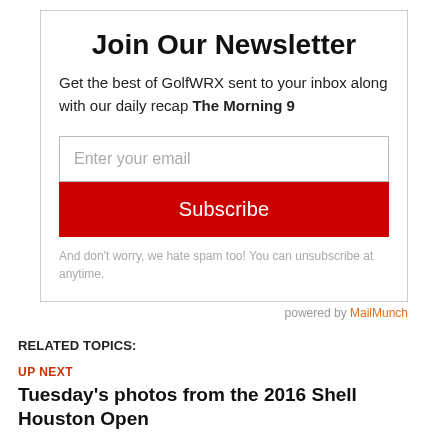Join Our Newsletter
Get the best of GolfWRX sent to your inbox along with our daily recap The Morning 9
Enter your email
Subscribe
And don't worry, we hate spam too! You can unsubscribe at anytime.
powered by MailMunch
RELATED TOPICS:
UP NEXT
Tuesday's photos from the 2016 Shell Houston Open